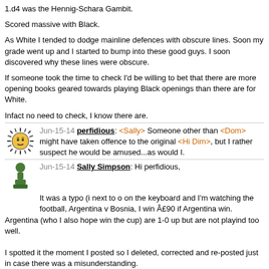1.d4 was the Hennig-Schara Gambit.
Scored massive with Black.
As White I tended to dodge mainline defences with obscure lines. Soon my grade went up and I started to bump into these good guys. I soon discovered why these lines were obscure.
If someone took the time to check I'd be willing to bet that there are more opening books geared towards playing Black openings than there are for White.
Infact no need to check, I know there are.
Jun-15-14 perfidious: <Sally> Someone other than <Dom> might have taken offence to the original <Hi Dim>, but I rather suspect he would be amused...as would I.
Jun-15-14 Sally Simpson: Hi perfidious, It was a typo (i next to o on the keyboard and I'm watching the football, Argentina v Bosnia, I win £90 if Argentina win. Argentina (who I also hope win the cup) are 1-0 up but are not playind too well. I spotted it the moment I posted so I deleted, corrected and re-posted just in case there was a misunderstanding.
Jun-15-14 perfidious: Of course-would that I had a dollar for every typo I have made.
Jun-15-14 Domdaniel: The letter 'u' is also nearby. Try to avoid it, eh?